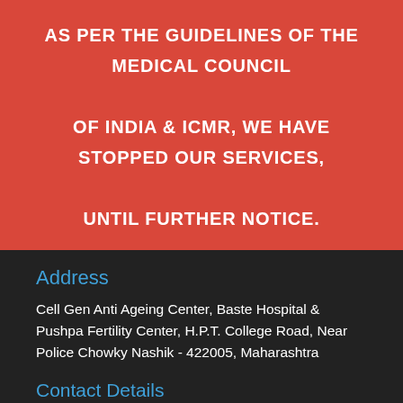AS PER THE GUIDELINES OF THE MEDICAL COUNCIL OF INDIA & ICMR, WE HAVE STOPPED OUR SERVICES, UNTIL FURTHER NOTICE.
Address
Cell Gen Anti Ageing Center, Baste Hospital & Pushpa Fertility Center, H.P.T. College Road, Near Police Chowky Nashik - 422005, Maharashtra
Contact Details
Phone: +91 253 2578051
+91 253 64557983
Mobile Nos: 8888824639
7798988409
Helpline No. :+91 94203 67961